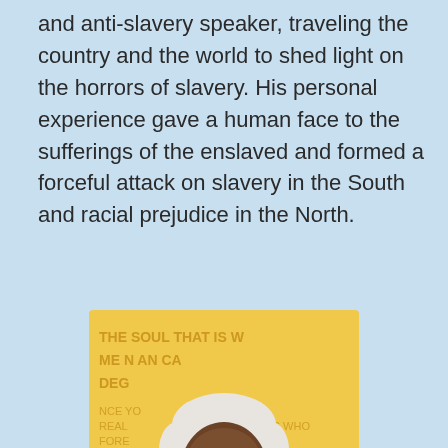and anti-slavery speaker, traveling the country and the world to shed light on the horrors of slavery. His personal experience gave a human face to the sufferings of the enslaved and formed a forceful attack on slavery in the South and racial prejudice in the North.
[Figure (illustration): Illustrated portrait of Frederick Douglass with a yellow/golden background containing text fragments of his quotes. He has white hair and beard, wearing a teal/turquoise jacket and black bow tie. Text visible includes 'THE SOUL THAT IS W', 'ME N AN CA', 'DEG', 'ONCE YO', 'REAL', 'FORE', 'HOSE WHO', 'O FAVO', 'ND YE', 'GITA', 'MEN', 'OWER', 'NEVER', 'WANT TO', 'MANITO'.]